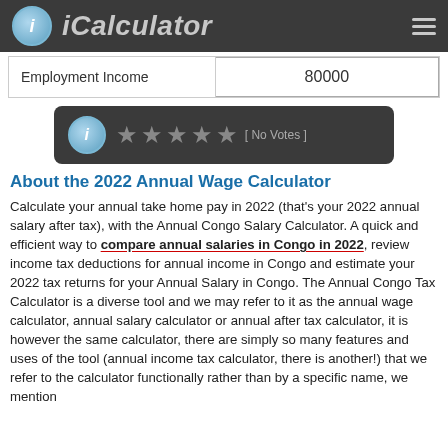iCalculator
| Employment Income | 80000 |
| --- | --- |
[Figure (infographic): Rating widget with info icon and 5 empty stars and [No Votes] label on dark background]
About the 2022 Annual Wage Calculator
Calculate your annual take home pay in 2022 (that's your 2022 annual salary after tax), with the Annual Congo Salary Calculator. A quick and efficient way to compare annual salaries in Congo in 2022, review income tax deductions for annual income in Congo and estimate your 2022 tax returns for your Annual Salary in Congo. The Annual Congo Tax Calculator is a diverse tool and we may refer to it as the annual wage calculator, annual salary calculator or annual after tax calculator, it is however the same calculator, there are simply so many features and uses of the tool (annual income tax calculator, there is another!) that we refer to the calculator functionally rather than by a specific name, we mention